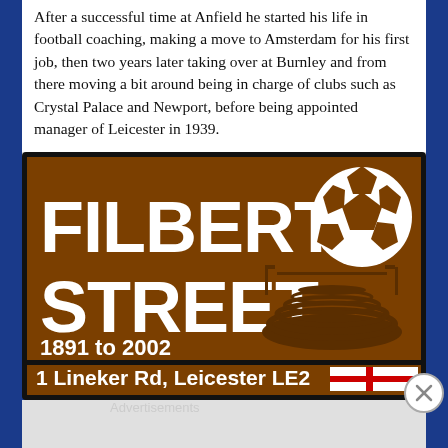After a successful time at Anfield he started his life in football coaching, making a move to Amsterdam for his first job, then two years later taking over at Burnley and from there moving a bit around being in charge of clubs such as Crystal Palace and Newport, before being appointed manager of Leicester in 1939.
[Figure (illustration): Brown tourist sign for Filbert Street stadium, Leicester. Shows 'FILBERT STREET' in large white text, a football icon top right, a stadium illustration, '1891 to 2002' below, and a bottom bar reading '1 Lineker Rd, Leicester LE2' with the England flag (St George's Cross).]
Advertisements